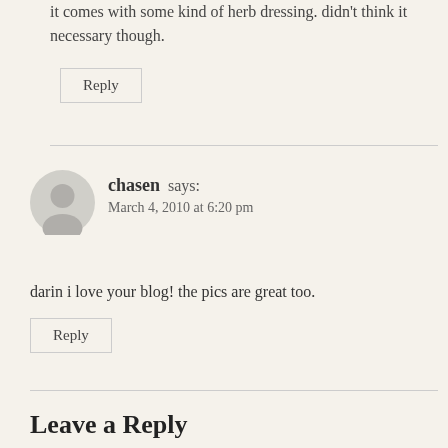it comes with some kind of herb dressing. didn't think it necessary though.
Reply
chasen says:
March 4, 2010 at 6:20 pm
darin i love your blog! the pics are great too.
Reply
Leave a Reply